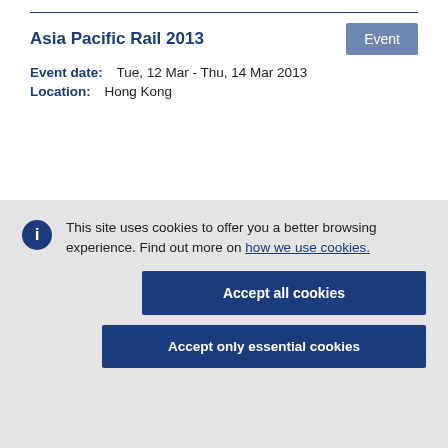Asia Pacific Rail 2013
Event date: Tue, 12 Mar - Thu, 14 Mar 2013
Location: Hong Kong
This site uses cookies to offer you a better browsing experience. Find out more on how we use cookies.
Accept all cookies
Accept only essential cookies